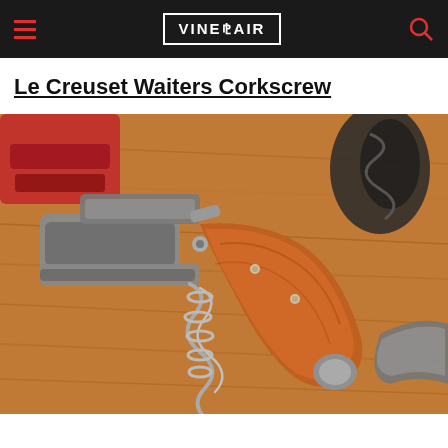VINEPAIR
Le Creuset Waiters Corkscrew
[Figure (photo): Close-up photo of a Le Creuset waiters corkscrew with wooden handle and steel body, displayed open on a wooden surface. Other corkscrews are partially visible in the frame — a red one at top left and a black one at top right.]